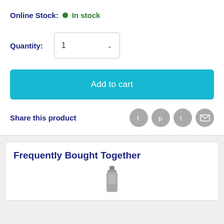Online Stock: • In stock
Quantity: 1
Add to cart
Share this product
Frequently Bought Together
[Figure (photo): Product bottle image thumbnail]